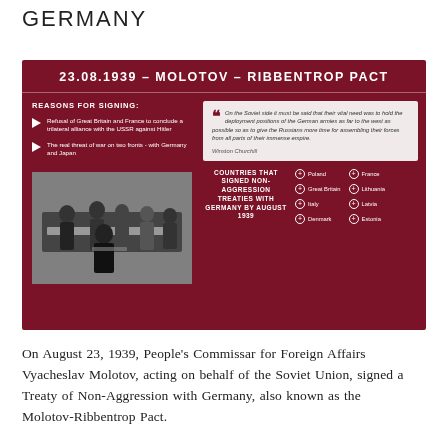GERMANY
[Figure (infographic): Infographic about the 23.08.1939 Molotov-Ribbentrop Pact showing reasons for signing, a Churchill quote, a historical photograph, and countries that signed non-aggression treaties with Germany by August 1939.]
On August 23, 1939, People's Commissar for Foreign Affairs Vyacheslav Molotov, acting on behalf of the Soviet Union, signed a Treaty of Non-Aggression with Germany, also known as the Molotov-Ribbentrop Pact.